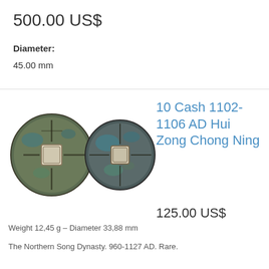500.00 US$
Diameter:
45.00 mm
[Figure (photo): Two ancient Chinese bronze coins with square holes in the center, showing green patina, obverse and reverse views]
10 Cash 1102-1106 AD Hui Zong Chong Ning
125.00 US$
Weight 12,45 g – Diameter 33,88 mm
The Northern Song Dynasty. 960-1127 AD. Rare.